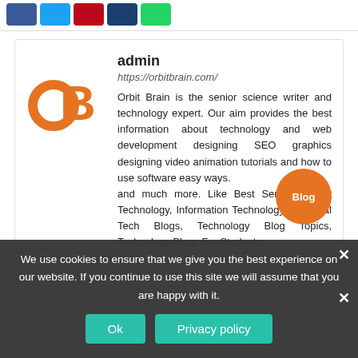[Figure (other): Social share buttons: Facebook (blue), Twitter (cyan), Pinterest (red), LinkedIn (dark navy), WhatsApp (green)]
[Figure (logo): OrbitBrain logo: orange OB letters]
admin
https://orbitbrain.com/
Orbit Brain is the senior science writer and technology expert. Our aim provides the best information about technology and web development designing SEO graphics designing video animation tutorials and how to use software easy ways.
and much more. Like Best Service Latest Technology, Information Technology, Personal Tech Blogs, Technology Blog Topics, Technology Blogs For Students,
We use cookies to ensure that we give you the best experience on our website. If you continue to use this site we will assume that you are happy with it.
Ok
Privacy policy